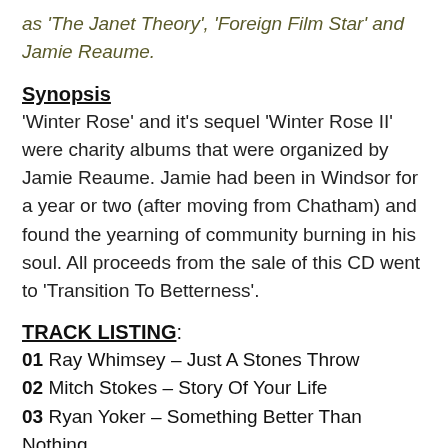as 'The Janet Theory', 'Foreign Film Star' and Jamie Reaume.
Synopsis
'Winter Rose' and it's sequel 'Winter Rose II' were charity albums that were organized by Jamie Reaume. Jamie had been in Windsor for a year or two (after moving from Chatham) and found the yearning of community burning in his soul. All proceeds from the sale of this CD went to 'Transition To Betterness'.
TRACK LISTING:
01 Ray Whimsey – Just A Stones Throw
02 Mitch Stokes – Story Of Your Life
03 Ryan Yoker – Something Better Than Nothing
04 Kara Kaufmann – Hammock
05 8ight Past Nine – Between The Lines